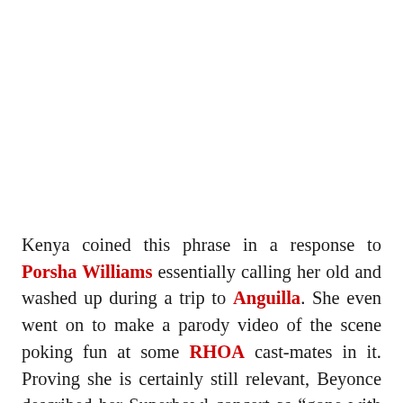Kenya coined this phrase in a response to Porsha Williams essentially calling her old and washed up during a trip to Anguilla. She even went on to make a parody video of the scene poking fun at some RHOA cast-mates in it. Proving she is certainly still relevant, Beyonce described her Superbowl concert as “gone with the wind fabulous.” Talk about a compliment! Now let’s twirl onto the next one.